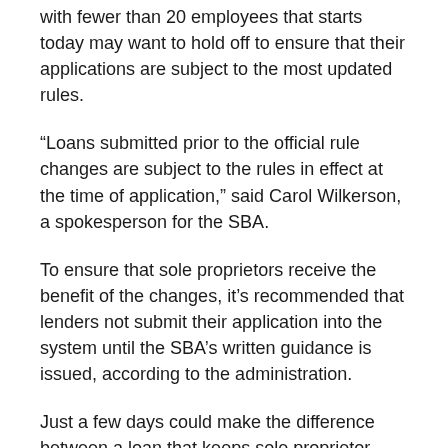with fewer than 20 employees that starts today may want to hold off to ensure that their applications are subject to the most updated rules.
“Loans submitted prior to the official rule changes are subject to the rules in effect at the time of application,” said Carol Wilkerson, a spokesperson for the SBA.
To ensure that sole proprietors receive the benefit of the changes, it’s recommended that lenders not submit their application into the system until the SBA’s written guidance is issued, according to the administration.
Just a few days could make the difference between a loan that keeps sole proprietor afloat and one that doesn’t go very far.
What is known about the